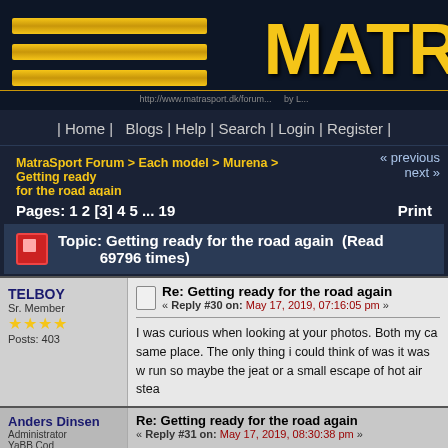[Figure (screenshot): MatraSport Forum website header with gold bars and MATR logo text on dark navy background]
| Home | Blogs | Help | Search | Login | Register |
MatraSport Forum > Each model > Murena > Getting ready for the road again
« previous next »
Pages: 1 2 [3] 4 5 ... 19    Print
Topic: Getting ready for the road again  (Read 69796 times)
TELBOY
Sr. Member
★★★★
Posts: 403
Re: Getting ready for the road again
« Reply #30 on: May 17, 2019, 07:16:05 pm »
I was curious when looking at your photos. Both my ca same place. The only thing i could think of was it was w run so maybe the jeat or a small escape of hot air stea
Anders Dinsen
Administrator
YaBB Cod
Re: Getting ready for the road again
« Reply #31 on: May 17, 2019, 08:30:38 pm »